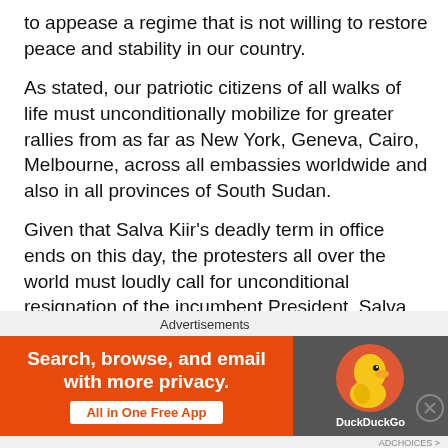to appease a regime that is not willing to restore peace and stability in our country.
As stated, our patriotic citizens of all walks of life must unconditionally mobilize for greater rallies from as far as New York, Geneva, Cairo, Melbourne, across all embassies worldwide and also in all provinces of South Sudan.
Given that Salva Kiir’s deadly term in office ends on this day, the protesters all over the world must loudly call for unconditional resignation of the incumbent President, Salva Kiir Mayardit, and his cronies who have destroyed our country than the Arabs regimes. On this day, the protestors all over the world, must lower South Sudan flags in all embassies and mourn the dead of this man made conflict
Advertisements
[Figure (screenshot): DuckDuckGo advertisement banner: orange left panel with text 'Search, browse, and email with more privacy. All in One Free App' and dark right panel with DuckDuckGo logo duck icon and brand name.]